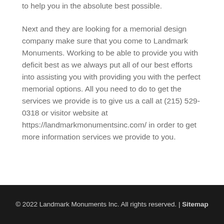to help you in the absolute best possible.
Next and they are looking for a memorial design company make sure that you come to Landmark Monuments. Working to be able to provide you with deficit best as we always put all of our best efforts into assisting you with providing you with the perfect memorial options. All you need to do to get the services we provide is to give us a call at (215) 529-0318 or visitor website at https://landmarkmonumentsinc.com/ in order to get more information services we provide to you.
© 2022 Landmark Monuments Inc. All rights reserved. | Sitemap